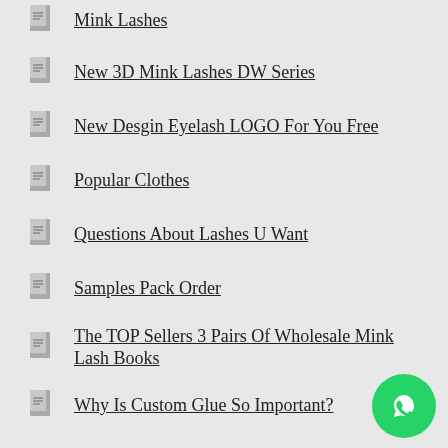Mink Lashes
New 3D Mink Lashes DW Series
New Desgin Eyelash LOGO For You Free
Popular Clothes
Questions About Lashes U Want
Samples Pack Order
The TOP Sellers 3 Pairs Of Wholesale Mink Lash Books
Why Is Custom Glue So Important?
Top Posts & Pages
Even If You Shop Around, You'll Still Choose Us--